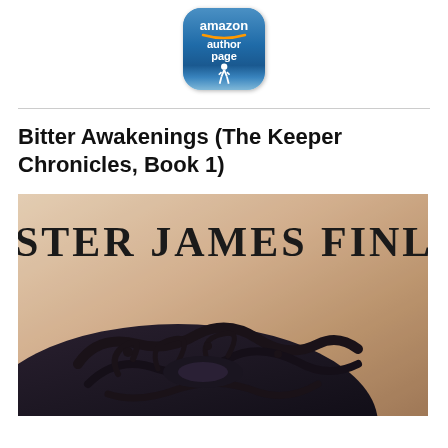[Figure (logo): Amazon Author Page button icon — rounded square with blue gradient background, showing 'amazon' in white with orange smile, 'author page' text, and a running figure silhouette at the bottom]
Bitter Awakenings (The Keeper Chronicles, Book 1)
[Figure (photo): Book cover for Bitter Awakenings by Kester James Finley. Close-up of a face with a dark tribal tattoo around one eye, on a beige/tan textured background. Large bold text reads KESTER JAMES FINLEY at the top of the cover.]